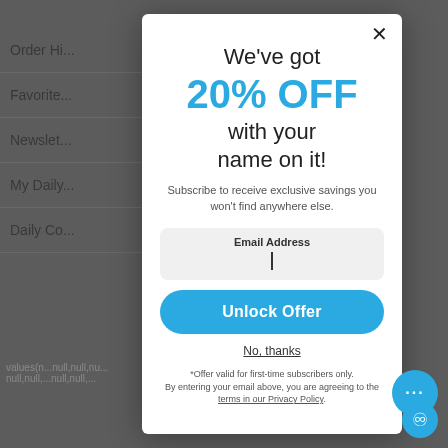Order Hi...
Favorite...
Newslet...
My Daily...
Daily Co...
values(n...null,null,nu... null,null,...null,null,...
We've got 20% OFF with your name on it!
Subscribe to receive exclusive savings you won't find anywhere else.
Email Address
Unlock Offer
No, thanks
*Offer valid for first-time subscribers only. By entering your email above, you are agreeing to the terms in our Privacy Policy.